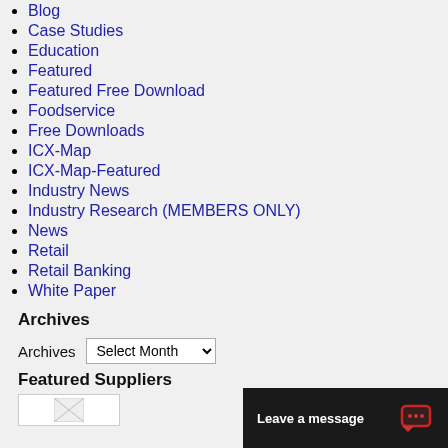Blog
Case Studies
Education
Featured
Featured Free Download
Foodservice
Free Downloads
ICX-Map
ICX-Map-Featured
Industry News
Industry Research (MEMBERS ONLY)
News
Retail
Retail Banking
White Paper
Archives
Archives  Select Month
Featured Suppliers
Leave a message